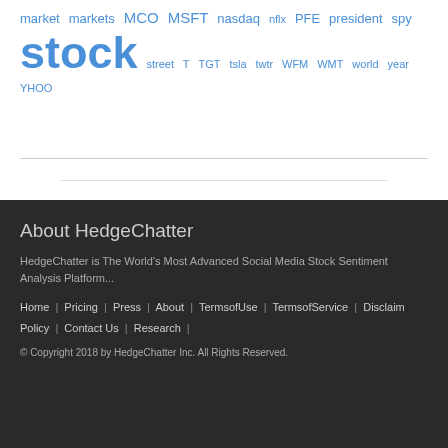market markets MCO MSFT nasdaq nflx PFE president spy stock street T TGT tsla twtr WFM WMT world year YHOO
About HedgeChatter
HedgeChatter is The World's Most Advanced Social Media Stock Sentiment Analysis Platform...
Home | Pricing | Press | About | TermsofUse | TermsofService | Disclaim Policy | Contact Us | Research |
© Copyright 2018 by HedgeChatter Inc. All Rights Reserved.